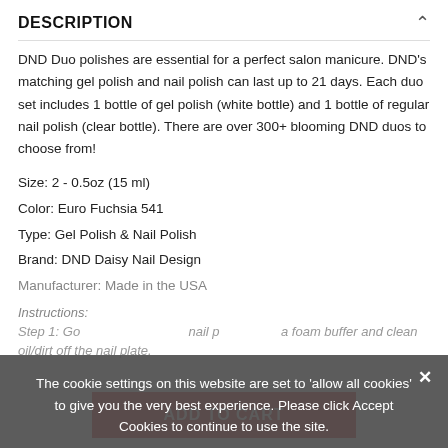DESCRIPTION
DND Duo polishes are essential for a perfect salon manicure. DND's matching gel polish and nail polish can last up to 21 days. Each duo set includes 1 bottle of gel polish (white bottle) and 1 bottle of regular nail polish (clear bottle). There are over 300+ blooming DND duos to choose from!
Size: 2 - 0.5oz (15 ml)
Color: Euro Fuchsia 541
Type: Gel Polish & Nail Polish
Brand: DND Daisy Nail Design
Manufacturer: Made in the USA
Instructions:
Step 1: Gently push back cuticle, gently file the nail plate, use a foam buffer and clean oil/dirt off the nail plate.
The cookie settings on this website are set to 'allow all cookies' to give you the very best experience. Please click Accept Cookies to continue to use the site.
ACCEPT COOKIES
PRIVACY POLICY
ADD TO CART